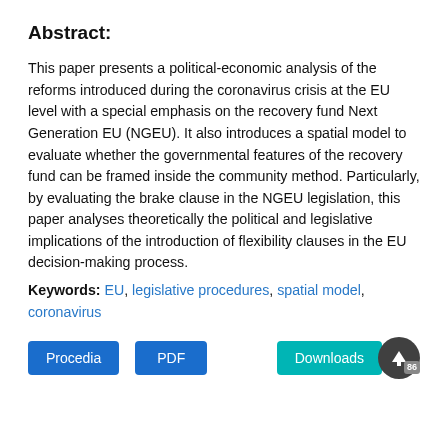Abstract:
This paper presents a political-economic analysis of the reforms introduced during the coronavirus crisis at the EU level with a special emphasis on the recovery fund Next Generation EU (NGEU). It also introduces a spatial model to evaluate whether the governmental features of the recovery fund can be framed inside the community method. Particularly, by evaluating the brake clause in the NGEU legislation, this paper analyses theoretically the political and legislative implications of the introduction of flexibility clauses in the EU decision-making process.
Keywords: EU, legislative procedures, spatial model, coronavirus